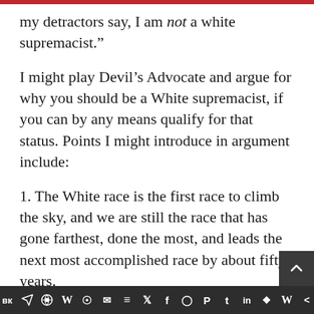my detractors say, I am not a white supremacist.”
I might play Devil’s Advocate and argue for why you should be a White supremacist, if you can by any means qualify for that status. Points I might introduce in argument include:
1. The White race is the first race to climb the sky, and we are still the race that has gone farthest, done the most, and leads the next most accomplished race by about fifty years.
2. Whites did spaceflight before anyone knew that it could be done. Asians, having before them the proof of the possibility of spaceflight, which Whites provided, and having the benefit of later